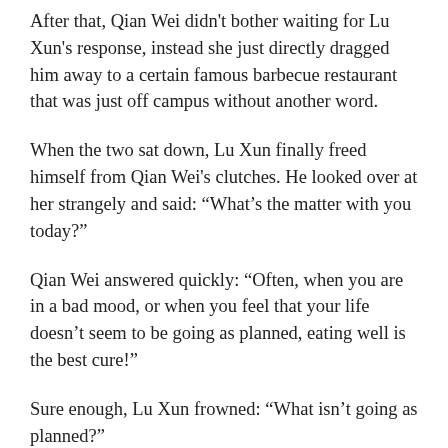After that, Qian Wei didn't bother waiting for Lu Xun's response, instead she just directly dragged him away to a certain famous barbecue restaurant that was just off campus without another word.
When the two sat down, Lu Xun finally freed himself from Qian Wei's clutches. He looked over at her strangely and said: “What’s the matter with you today?”
Qian Wei answered quickly: “Often, when you are in a bad mood, or when you feel that your life doesn’t seem to be going as planned, eating well is the best cure!”
Sure enough, Lu Xun frowned: “What isn’t going as planned?”
Qian Wei didn’t get annoyed with his attitude of denial, instead, she just focused on ordering vigorously: “Here, to this one. Their smelly grilled dining and their smelli…